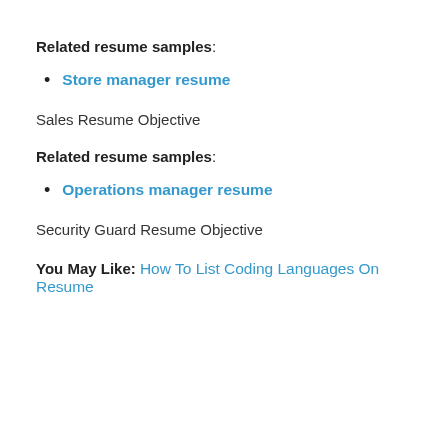Related resume samples:
Store manager resume
Sales Resume Objective
Related resume samples:
Operations manager resume
Security Guard Resume Objective
You May Like: How To List Coding Languages On Resume